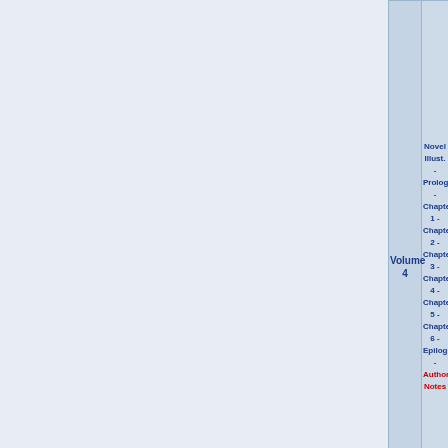| Volume | Contents |
| --- | --- |
| Volume 4 | Novel Illust. - Prologue - Chapter 1 - Chapter 2 - Chapter 3 - Chapter 4 - Chapter 5 - Chapter 6 - Epilogue - Author's Notes |
| Volume 5 | Novel Illust. - Prologue - Chapter 1 - Chapter 2 - Chapter 3 - Chapter 4 - Chapter 5 - Epilogue - Author's Notes |
| Volume 6 | Novel Illust. - Prologue - |